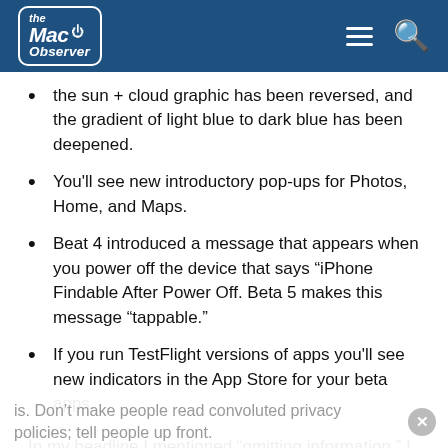the Mac Observer
the sun + cloud graphic has been reversed, and the gradient of light blue to dark blue has been deepened.
You'll see new introductory pop-ups for Photos, Home, and Maps.
Beat 4 introduced a message that appears when you power off the device that says "iPhone Findable After Power Off. Beta 5 makes this message "tappable."
If you run TestFlight versions of apps you'll see new indicators in the App Store for your beta apps.
In my headline I mentioned “omitting information.” I noticed that in the new welcome screen for Photos it makes no mention of the localized, CSAM detection feature. In my opinion this should be mentioned given how controversial it is. Don’t make people read convoluted privacy policies; tell people up front.